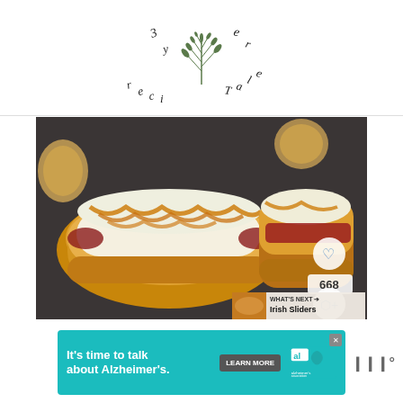[Figure (logo): Stylized script/handwritten logo with botanical herb illustration in center, cursive letters arranged around it]
[Figure (photo): Food photo showing two baked hot dog/sandwich rolls topped with melted white cheese and drizzled with orange sauce, on a dark baking sheet. Interface overlays include a heart/like button, share button with count 668, and a 'What's Next - Irish Sliders' recommendation panel.]
[Figure (other): Advertisement banner: teal background with white bold text 'It's time to talk about Alzheimer's.' with a LEARN MORE button, Alzheimer's Association logo, and an 'al' badge. Close button in corner. To the right is a separate logo in gray.]